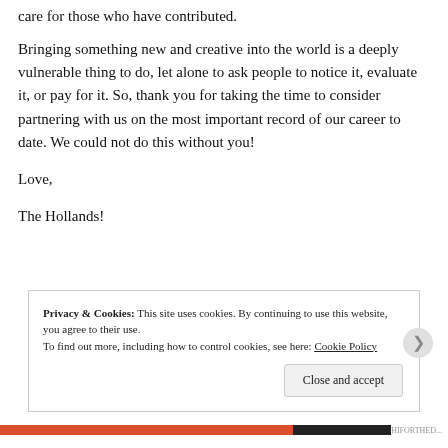care for those who have contributed.
Bringing something new and creative into the world is a deeply vulnerable thing to do, let alone to ask people to notice it, evaluate it, or pay for it. So, thank you for taking the time to consider partnering with us on the most important record of our career to date. We could not do this without you!
Love,
The Hollands!
Privacy & Cookies: This site uses cookies. By continuing to use this website, you agree to their use. To find out more, including how to control cookies, see here: Cookie Policy